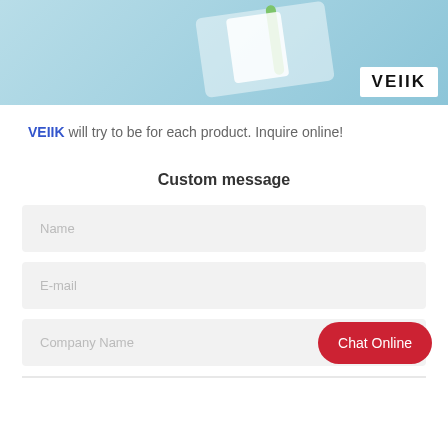[Figure (photo): Hero image showing vaping products on a light blue background, with a white VEIIK logo badge in the bottom-right corner]
VEIIK will try to be for each product. Inquire online!
Custom message
Name
E-mail
Company Name
Chat Online